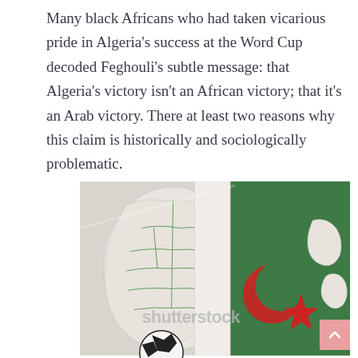Many black Africans who had taken vicarious pride in Algeria's success at the Word Cup decoded Feghouli's subtle message: that Algeria's victory isn't an African victory; that it's an Arab victory. There at least two reasons why this claim is historically and sociologically problematic.
[Figure (photo): A 3D rendered image of the African continent map with country borders shown, overlaid with the Algerian flag colors (green and white with a red crescent and star). A soccer ball is partially visible at the bottom. A Shutterstock watermark is visible across the image.]